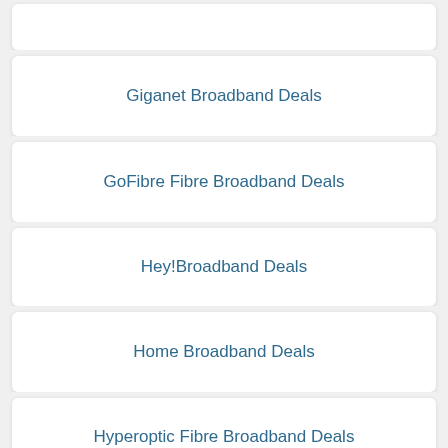Giganet Broadband Deals
GoFibre Fibre Broadband Deals
Hey!Broadband Deals
Home Broadband Deals
Hyperoptic Fibre Broadband Deals